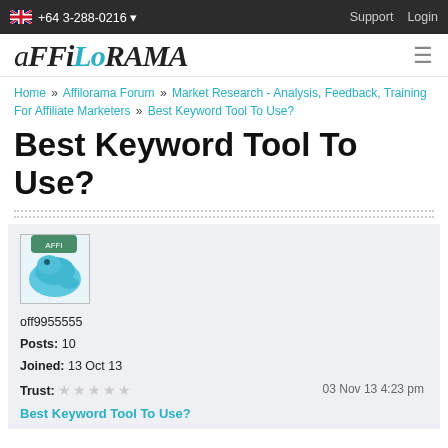+64 3-288-0216  Support  Login
[Figure (logo): Affilorama logo in italic serif font with teal coloring on 'lo']
Home » Affilorama Forum » Market Research - Analysis, Feedback, Training For Affiliate Marketers » Best Keyword Tool To Use?
Best Keyword Tool To Use?
[Figure (photo): User avatar image showing a blue whale cartoon/illustration]
off9955555
Posts: 10
Joined: 13 Oct 13
Trust: ☆☆☆☆☆
03 Nov 13 4:23 pm
Best Keyword Tool To Use?